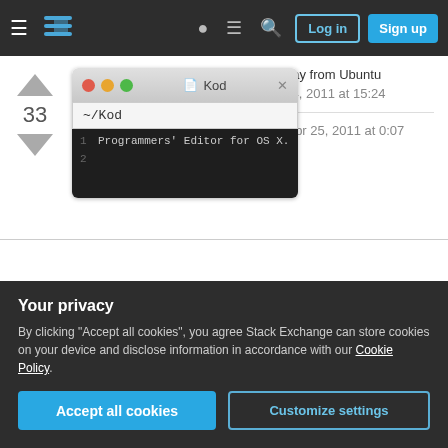Stack Exchange navigation bar with Log in and Sign up buttons
good for is drawing serious people away from Ubuntu (including myself). – Rafe Kettler Mar 4, 2011 at 15:24
Love the new look! – NateN osmews Apr 25, 2011 at 0:07
Add a comment
[Figure (screenshot): Kod text editor for OS X showing window with title bar dots (red/yellow/green), ~/Kod path field, and editor showing line: Programmers' Editor for OS X.]
Your privacy
By clicking "Accept all cookies", you agree Stack Exchange can store cookies on your device and disclose information in accordance with our Cookie Policy.
Accept all cookies   Customize settings